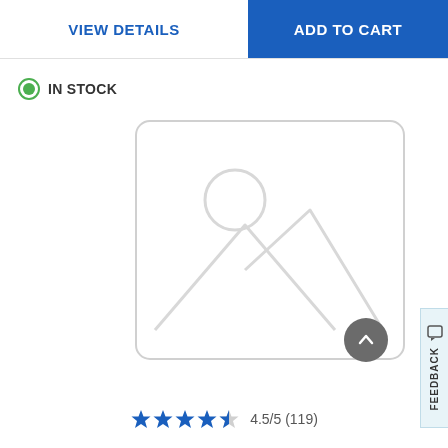VIEW DETAILS
ADD TO CART
IN STOCK
[Figure (illustration): Placeholder product image with grey rounded rectangle border containing a landscape icon (mountain peaks and circle/sun outline) in light grey]
[Figure (other): Grey circular scroll-to-top button with upward chevron arrow]
[Figure (other): Light blue feedback tab on right edge with vertical text FEEDBACK and chat icon]
4.5/5 (119)